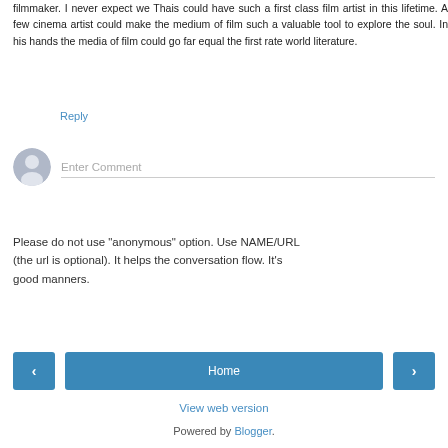filmmaker. I never expect we Thais could have such a first class film artist in this lifetime. A few cinema artist could make the medium of film such a valuable tool to explore the soul. In his hands the media of film could go far equal the first rate world literature.
Reply
[Figure (illustration): Gray user avatar icon (silhouette of a person) with an 'Enter Comment' placeholder input field below a horizontal line.]
Please do not use "anonymous" option. Use NAME/URL (the url is optional). It helps the conversation flow. It's good manners.
< Home >
View web version
Powered by Blogger.